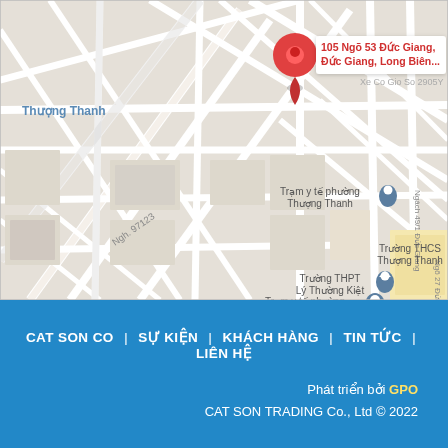[Figure (map): Google Maps screenshot showing location pin at '105 Ngõ 53 Đức Giang, Đức Giang, Long Biên...' with surrounding street map of Thượng Thanh area in Hanoi, Vietnam. Landmarks include Trạm y tế phường Thượng Thanh, Trường THCS Thượng Thanh, Trường THPT Lý Thường Kiệt. Streets labeled Ngh. 97123, Ngách 49/1 Đức Giang, Ngõ 27 Đức Giang.]
CAT SON CO  |  SỰ KIỆN  |  KHÁCH HÀNG  |  TIN TỨC  |  LIÊN HỆ
Phát triển bởi GPO
CAT SON TRADING Co., Ltd © 2022